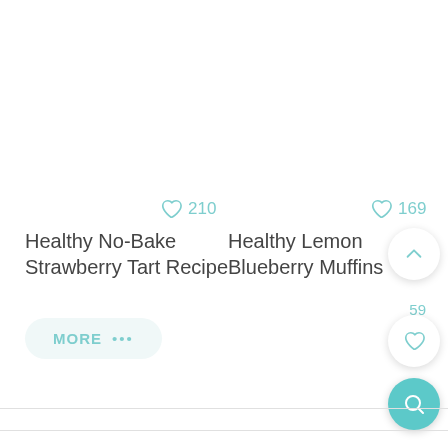[Figure (other): Heart icon with like count 210 for first recipe card]
[Figure (other): Heart icon with like count 169 for second recipe card]
Healthy No-Bake Strawberry Tart Recipe
Healthy Lemon Blueberry Muffins
MORE •••
59